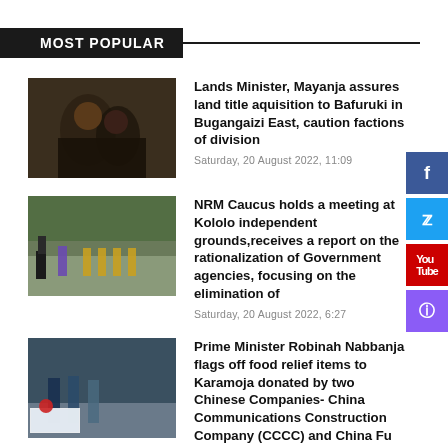MOST POPULAR
[Figure (photo): Two men in suits looking at documents]
Lands Minister, Mayanja assures land title aquisition to Bafuruki in Bugangaizi East, caution factions of division
Saturday, 20 August 2022, 11:09
[Figure (photo): People in a field, some in yellow outfits]
NRM Caucus holds a meeting at Kololo independent grounds,receives a report on the rationalization of Government agencies, focusing on the elimination of
Saturday, 20 August 2022, 6:27
[Figure (photo): People standing outdoors, relief items in foreground]
Prime Minister Robinah Nabbanja flags off food relief items to Karamoja donated by two Chinese Companies- China Communications Construction Company (CCCC) and China Fu Qing
Saturday, 20 August 2022, 6:21